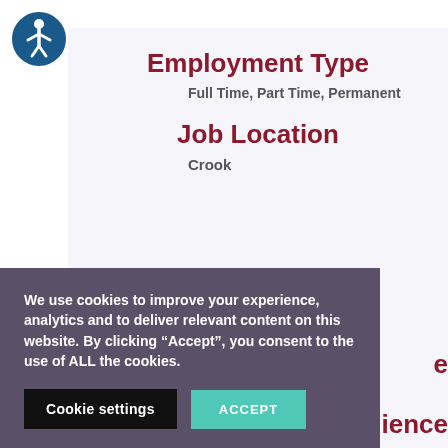[Figure (logo): Accessibility icon — blue circle with white figure in wheelchair-accessible pose]
Employment Type
Full Time, Part Time, Permanent
Job Location
Crook
We use cookies to improve your experience, analytics and to deliver relevant content on this website. By clicking “Accept”, you consent to the use of ALL the cookies.
Cookie settings
ACCEPT
ience
None Required, training available